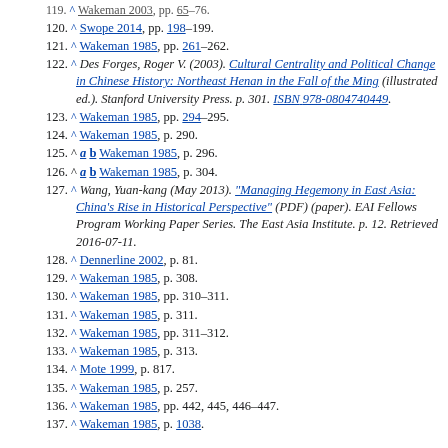119. ^ Wakeman 2003, pp. 65–76.
120. ^ Swope 2014, pp. 198–199.
121. ^ Wakeman 1985, pp. 261–262.
122. ^ Des Forges, Roger V. (2003). Cultural Centrality and Political Change in Chinese History: Northeast Henan in the Fall of the Ming (illustrated ed.). Stanford University Press. p. 301. ISBN 978-0804740449.
123. ^ Wakeman 1985, pp. 294–295.
124. ^ Wakeman 1985, p. 290.
125. ^ a b Wakeman 1985, p. 296.
126. ^ a b Wakeman 1985, p. 304.
127. ^ Wang, Yuan-kang (May 2013). "Managing Hegemony in East Asia: China's Rise in Historical Perspective" (PDF) (paper). EAI Fellows Program Working Paper Series. The East Asia Institute. p. 12. Retrieved 2016-07-11.
128. ^ Dennerline 2002, p. 81.
129. ^ Wakeman 1985, p. 308.
130. ^ Wakeman 1985, pp. 310–311.
131. ^ Wakeman 1985, p. 311.
132. ^ Wakeman 1985, pp. 311–312.
133. ^ Wakeman 1985, p. 313.
134. ^ Mote 1999, p. 817.
135. ^ Wakeman 1985, p. 257.
136. ^ Wakeman 1985, pp. 442, 445, 446–447.
137. ^ Wakeman 1985, p. 1038.